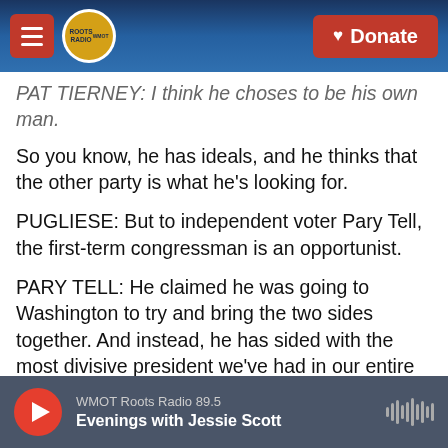Roots Radio — navigation bar with hamburger menu, logo, and Donate button
PAT TIERNEY: I think he choses to be his own man. So you know, he has ideals, and he thinks that the other party is what he's looking for.
PUGLIESE: But to independent voter Pary Tell, the first-term congressman is an opportunist.
PARY TELL: He claimed he was going to Washington to try and bring the two sides together. And instead, he has sided with the most divisive president we've had in our entire history.
PUGLIESE: Van Drew represents a conservative-leaning district that voted for President Trump in
WMOT Roots Radio 89.5 — Evenings with Jessie Scott